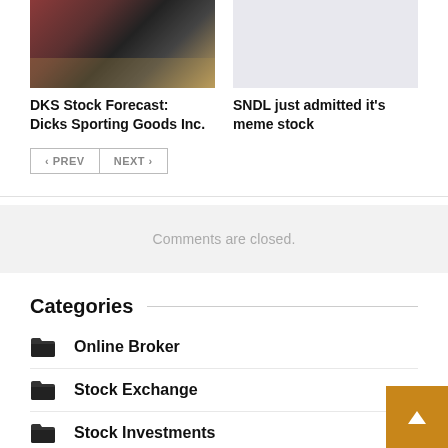[Figure (photo): Photo of a Dick's Sporting Goods store exterior with brick facade and large glass windows]
DKS Stock Forecast: Dicks Sporting Goods Inc.
[Figure (photo): Light gray placeholder image]
SNDL just admitted it's meme stock
< PREV   NEXT >
Comments are closed.
Categories
Online Broker
Stock Exchange
Stock Investments